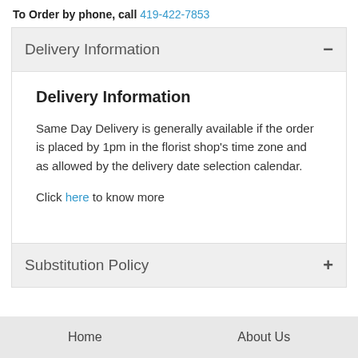To Order by phone, call 419-422-7853
Delivery Information
Delivery Information
Same Day Delivery is generally available if the order is placed by 1pm in the florist shop's time zone and as allowed by the delivery date selection calendar.
Click here to know more
Substitution Policy
Home   About Us